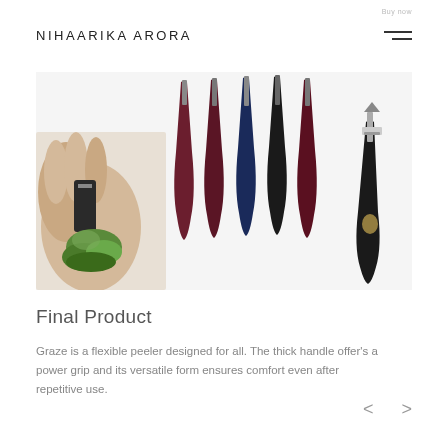NIHAARIKA ARORA
[Figure (photo): Product photo showing multiple colorful flexible peeler handles (maroon, navy, black, maroon) and a close-up of a hand using the peeler on a vegetable, plus an assembled peeler on the right side.]
Final Product
Graze is a flexible peeler designed for all. The thick handle offer's a power grip and its versatile form ensures comfort even after repetitive use.